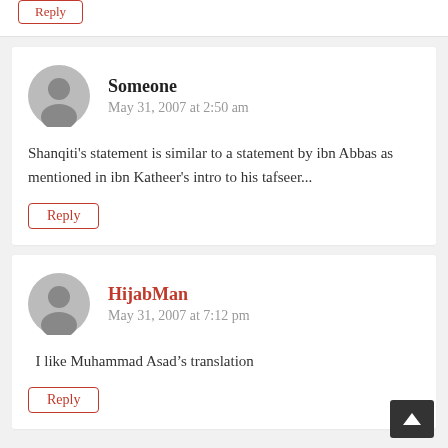Reply
Someone
May 31, 2007 at 2:50 am
Shanqiti's statement is similar to a statement by ibn Abbas as mentioned in ibn Katheer's intro to his tafseer...
Reply
HijabMan
May 31, 2007 at 7:12 pm
I like Muhammad Asad’s translation
Reply